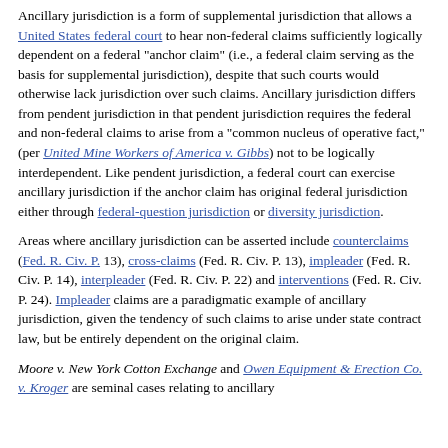Ancillary jurisdiction is a form of supplemental jurisdiction that allows a United States federal court to hear non-federal claims sufficiently logically dependent on a federal "anchor claim" (i.e., a federal claim serving as the basis for supplemental jurisdiction), despite that such courts would otherwise lack jurisdiction over such claims. Ancillary jurisdiction differs from pendent jurisdiction in that pendent jurisdiction requires the federal and non-federal claims to arise from a "common nucleus of operative fact," (per United Mine Workers of America v. Gibbs) not to be logically interdependent. Like pendent jurisdiction, a federal court can exercise ancillary jurisdiction if the anchor claim has original federal jurisdiction either through federal-question jurisdiction or diversity jurisdiction.
Areas where ancillary jurisdiction can be asserted include counterclaims (Fed. R. Civ. P. 13), cross-claims (Fed. R. Civ. P. 13), impleader (Fed. R. Civ. P. 14), interpleader (Fed. R. Civ. P. 22) and interventions (Fed. R. Civ. P. 24). Impleader claims are a paradigmatic example of ancillary jurisdiction, given the tendency of such claims to arise under state contract law, but be entirely dependent on the original claim.
Moore v. New York Cotton Exchange and Owen Equipment & Erection Co. v. Kroger are seminal cases relating to ancillary